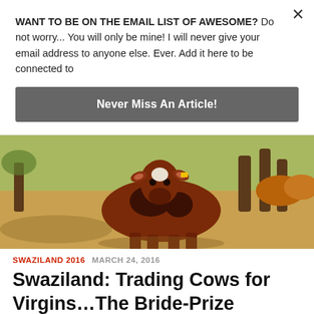WANT TO BE ON THE EMAIL LIST OF AWESOME? Do not worry... You will only be mine! I will never give your email address to anyone else. Ever. Add it here to be connected to
Never Miss An Article!
[Figure (photo): A brown and white cow facing the camera, standing on dry sandy ground with other cattle and green trees in the background.]
SWAZILAND 2016  MARCH 24, 2016
Swaziland: Trading Cows for Virgins...The Bride-Prize
Last night in a hostel in Mbabane, Swaziland, I ended up